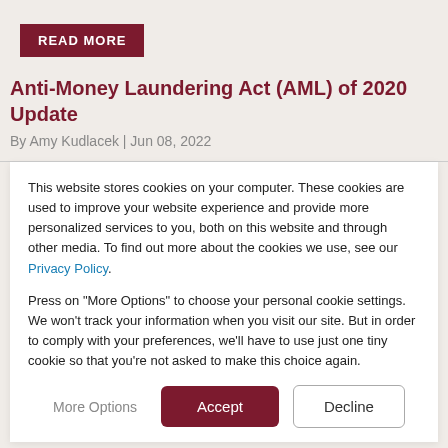READ MORE
Anti-Money Laundering Act (AML) of 2020 Update
By Amy Kudlacek | Jun 08, 2022
This website stores cookies on your computer. These cookies are used to improve your website experience and provide more personalized services to you, both on this website and through other media. To find out more about the cookies we use, see our Privacy Policy.

Press on "More Options" to choose your personal cookie settings. We won't track your information when you visit our site. But in order to comply with your preferences, we'll have to use just one tiny cookie so that you're not asked to make this choice again.